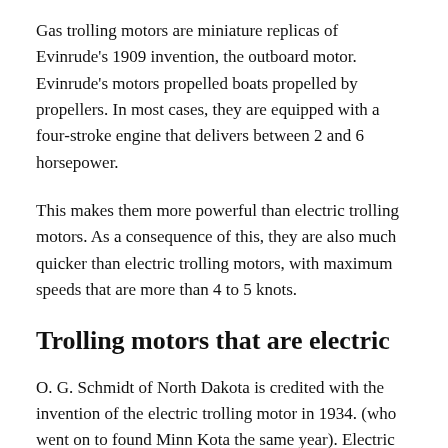Gas trolling motors are miniature replicas of Evinrude's 1909 invention, the outboard motor. Evinrude's motors propelled boats propelled by propellers. In most cases, they are equipped with a four-stroke engine that delivers between 2 and 6 horsepower.
This makes them more powerful than electric trolling motors. As a consequence of this, they are also much quicker than electric trolling motors, with maximum speeds that are more than 4 to 5 knots.
Trolling motors that are electric
O. G. Schmidt of North Dakota is credited with the invention of the electric trolling motor in 1934. (who went on to found Minn Kota the same year). Electric motors